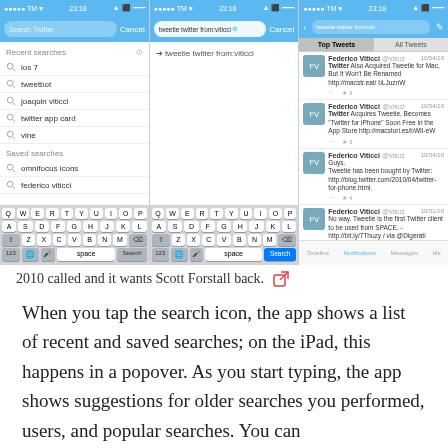[Figure (screenshot): Three iOS app screenshots side by side showing Twitter search functionality: left panel shows recent/saved searches list with keyboard, middle panel shows search query 'tweetie twitter from:vicci' being typed with keyboard and Search button highlighted, right panel shows search results with tweets from Federico Viticci about Tweetie being acquired by Twitter.]
2010 called and it wants Scott Forstall back. [external link icon]
When you tap the search icon, the app shows a list of recent and saved searches; on the iPad, this happens in a popover. As you start typing, the app shows suggestions for older searches you performed, users, and popular searches. You can